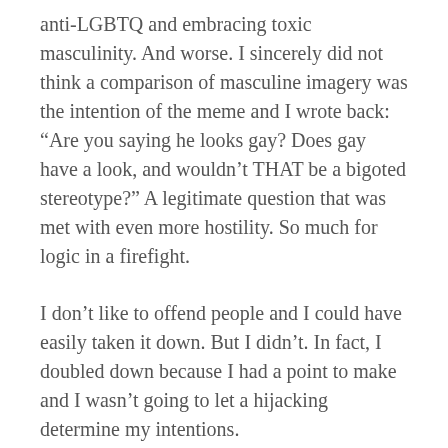anti-LGBTQ and embracing toxic masculinity. And worse. I sincerely did not think a comparison of masculine imagery was the intention of the meme and I wrote back: “Are you saying he looks gay? Does gay have a look, and wouldn’t THAT be a bigoted stereotype?” A legitimate question that was met with even more hostility. So much for logic in a firefight.
I don’t like to offend people and I could have easily taken it down. But I didn’t. In fact, I doubled down because I had a point to make and I wasn’t going to let a hijacking determine my intentions.
For quite some time I have made an observation that American culture is getting more and more casual. And while I understand that natural progression toward individuality as we become more enlightened, I also believe that some aspects of that